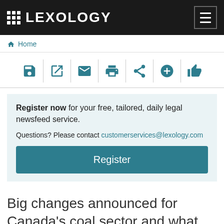LEXOLOGY
Home
[Figure (screenshot): Toolbar with 7 action icons: save, external link, email, print, share, add, thumbs up]
Register now for your free, tailored, daily legal newsfeed service. Questions? Please contact customerservices@lexology.com Register
Big changes announced for Canada's coal sector and what do the changes mean?